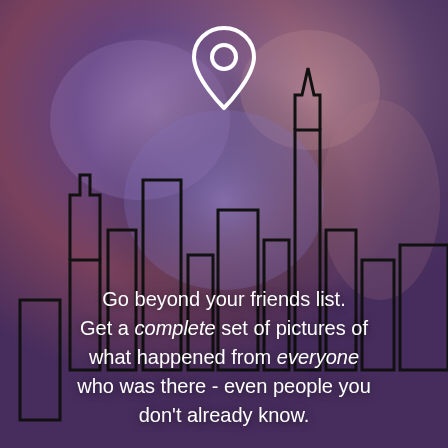[Figure (illustration): Stylized city skyline outline illustration with a white location pin/map marker icon above center, on a blurred purple-pink-mauve gradient background. The cityscape shows silhouettes of skyscrapers in black outline style.]
Go beyond your friends list. Get a complete set of pictures of what happened from everyone who was there - even people you don't already know.